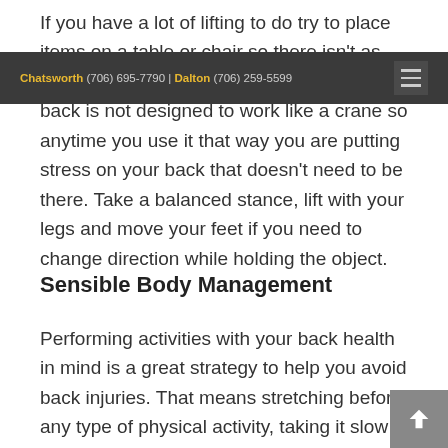If you have a lot of lifting to do try to place items on a table or chair so there isn't as much bending required picking it up. Your back is not designed to work like a crane so anytime you use it that way you are putting stress on your back that doesn't need to be there. Take a balanced stance, lift with your legs and move your feet if you need to change direction while holding the object.
Chatsworth (706) 695-7790 | Dalton (706) 259-5599
Sensible Body Management
Performing activities with your back health in mind is a great strategy to help you avoid back injuries. That means stretching before any type of physical activity, taking it slow if you have a lot of repetitive lifting to do, and taking breaks to rest and stretch during the activity.